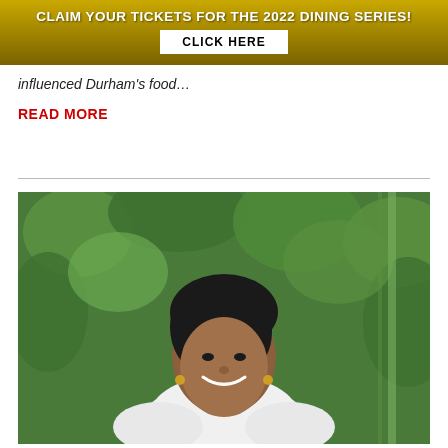CLAIM YOUR TICKETS FOR THE 2022 DINING SERIES! CLICK HERE
influenced Durham's food…
READ MORE
[Figure (photo): Portrait photo of a smiling woman with dark hair in front of green leafy plants outdoors, wearing a white top and gold hoop earrings]